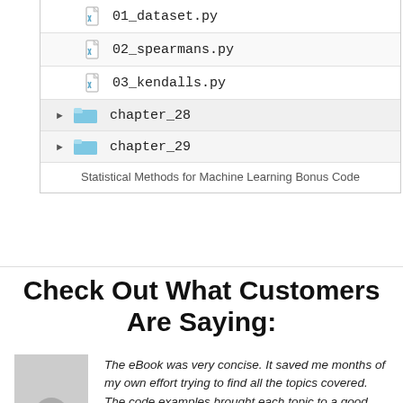[Figure (screenshot): File browser showing Python files 01_dataset.py, 02_spearmans.py, 03_kendalls.py and folders chapter_28, chapter_29]
Statistical Methods for Machine Learning Bonus Code
Check Out What Customers Are Saying:
The eBook was very concise. It saved me months of my own effort trying to find all the topics covered. The code examples brought each topic to a good